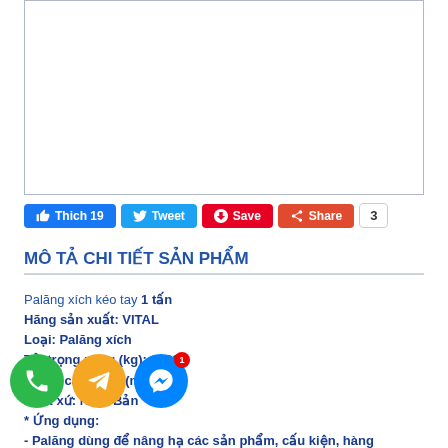[Figure (photo): Product image area (white rectangle with border)]
Thich 19  Tweet  Save  Share  3
MÔ TẢ CHI TIẾT SẢN PHẨM
Palăng xích kéo tay 1 tấn
Hãng sản xuất: VITAL
Loại: Palăng xích
Tải trọng nâng (kg): 10000
Chiều cao nâng (m): 5
Xuất xứ: Nhật Bản
* Ứng dụng:
- Palăng dùng để nâng hạ các sản phẩm, cấu kiện, hàng hóa....tiết kiệm nhân công lao động, không tốn sức..
* Công nghệ:
- Palăng xích Vital là sự kết hợp của hình dáng thiết kế nghệ thuật, bền đẹp và nhẹ, chất lượng tốt, bền bỉ theo thời gian.